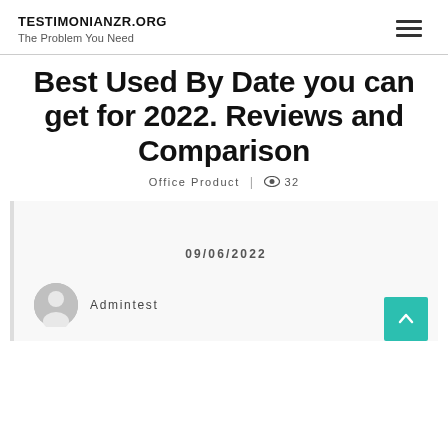TESTIMONIANZR.ORG
The Problem You Need
Best Used By Date you can get for 2022. Reviews and Comparison
Office Product | 32
09/06/2022
Admintest